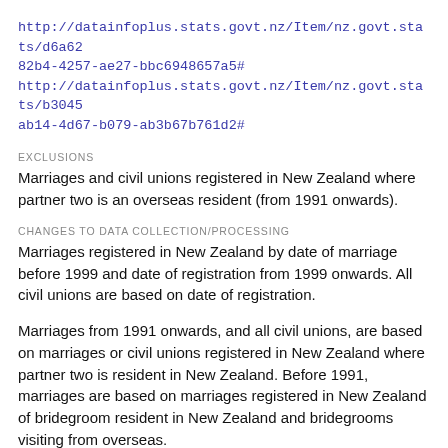http://datainfoplus.stats.govt.nz/Item/nz.govt.stats/d6a62 82b4-4257-ae27-bbc6948657a5# http://datainfoplus.stats.govt.nz/Item/nz.govt.stats/b3045 ab14-4d67-b079-ab3b67b761d2#
EXCLUSIONS
Marriages and civil unions registered in New Zealand where partner two is an overseas resident (from 1991 onwards).
CHANGES TO DATA COLLECTION/PROCESSING
Marriages registered in New Zealand by date of marriage before 1999 and date of registration from 1999 onwards. All civil unions are based on date of registration.
Marriages from 1991 onwards, and all civil unions, are based on marriages or civil unions registered in New Zealand where partner two is resident in New Zealand. Before 1991, marriages are based on marriages registered in New Zealand of bridegroom resident in New Zealand and bridegrooms visiting from overseas.